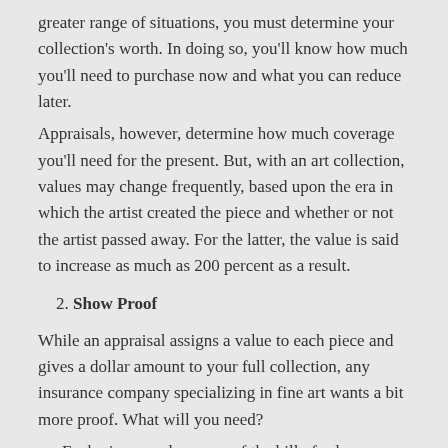greater range of situations, you must determine your collection's worth. In doing so, you'll know how much you'll need to purchase now and what you can reduce later.
Appraisals, however, determine how much coverage you'll need for the present. But, with an art collection, values may change frequently, based upon the era in which the artist created the piece and whether or not the artist passed away. For the latter, the value is said to increase as much as 200 percent as a result.
2. Show Proof
While an appraisal assigns a value to each piece and gives a dollar amount to your full collection, any insurance company specializing in fine art wants a bit more proof. What will you need?
Each piece needs a copy of the bill of sale, a